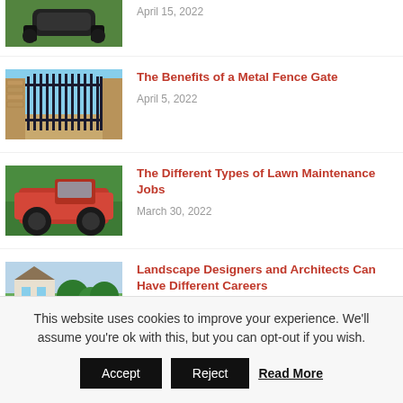[Figure (photo): Partial view of robotic lawn mower on grass, cropped at top]
April 15, 2022
[Figure (photo): Black metal fence gate with brick pillars and trees in background]
The Benefits of a Metal Fence Gate
April 5, 2022
[Figure (photo): Red lawn maintenance tractor on green grass from low angle]
The Different Types of Lawn Maintenance Jobs
March 30, 2022
[Figure (photo): House with lush green garden landscape design, partially visible]
Landscape Designers and Architects Can Have Different Careers
This website uses cookies to improve your experience. We'll assume you're ok with this, but you can opt-out if you wish.